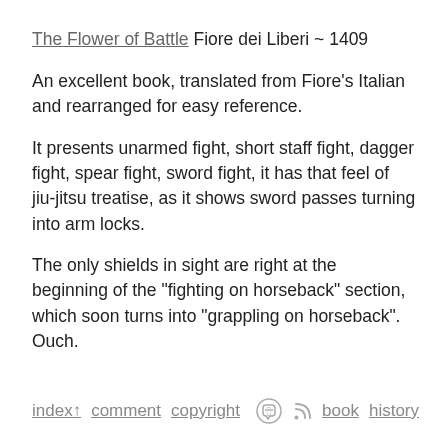The Flower of Battle Fiore dei Liberi ~ 1409
An excellent book, translated from Fiore's Italian and rearranged for easy reference.
It presents unarmed fight, short staff fight, dagger fight, spear fight, sword fight, it has that feel of jiu-jitsu treatise, as it shows sword passes turning into arm locks.
The only shields in sight are right at the beginning of the "fighting on horseback" section, which soon turns into "grappling on horseback". Ouch.
index↑ comment copyright [mastodon] [rss] book history